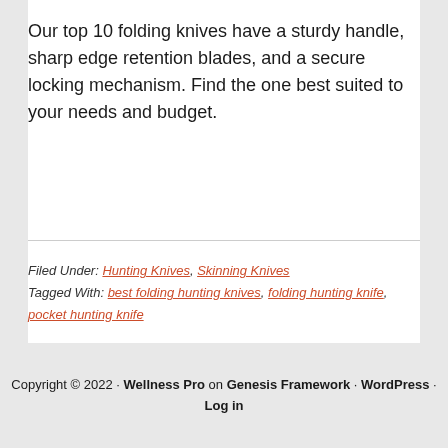Our top 10 folding knives have a sturdy handle, sharp edge retention blades, and a secure locking mechanism. Find the one best suited to your needs and budget.
Filed Under: Hunting Knives, Skinning Knives Tagged With: best folding hunting knives, folding hunting knife, pocket hunting knife
Copyright © 2022 · Wellness Pro on Genesis Framework · WordPress · Log in